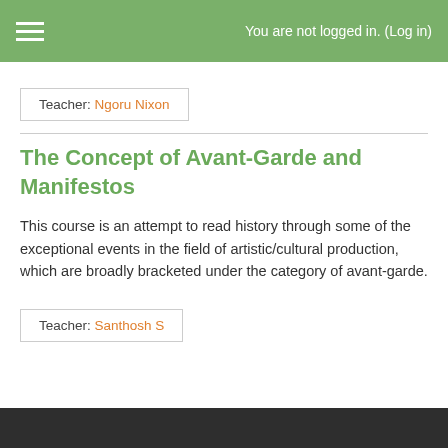You are not logged in. (Log in)
Teacher: Ngoru Nixon
The Concept of Avant-Garde and Manifestos
This course is an attempt to read history through some of the exceptional events in the field of artistic/cultural production, which are broadly bracketed under the category of avant-garde.
Teacher: Santhosh S